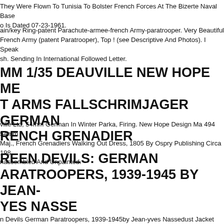They Were Flown To Tunisia To Bolster French Forces At The Bizerte Naval Base o Is Dated 07-23-1961.
ain/key Ring-patent Parachute-armee-french Army-paratrooper. Very Beautiful French Army (patent Paratrooper), Top ! (see Descriptive And Photos). I Speak sh. Sending In International Followed Letter.
MM 1/35 DEAUVILLE NEW HOPE ME T ARMS FALLSCHRIMJAGER GERMAN RENCH GRENADIER
ville Ltd, 54mm German In Winter Parka, Firing. New Hope Design Ma 494 54mm Maj., French Grenadiers Walking Out Dress, 1805 By Ospry Publishing Circa 1980 nassembled And Unpainted.
REEN DEVILS: GERMAN ARATROOPERS, 1939-1945 BY JEAN-YES NASSE
n Devils German Paratroopers, 1939-1945by Jean-yves Nassedust Jacket Missi